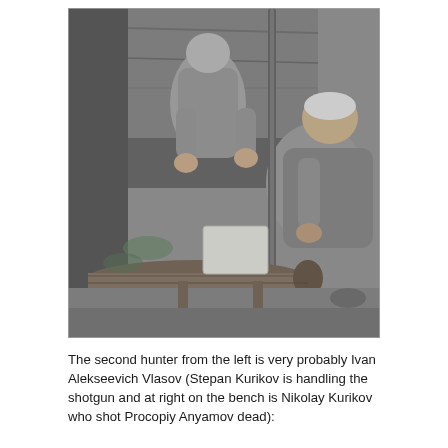[Figure (photo): Black and white photograph of two men outdoors. One man stands in the background, the other sits or crouches in the foreground holding the barrel of a shotgun vertically. A log and wooden bench-like structure are visible in the background.]
The second hunter from the left is very probably Ivan Alekseevich Vlasov (Stepan Kurikov is handling the shotgun and at right on the bench is Nikolay Kurikov who shot Procopiy Anyamov dead):